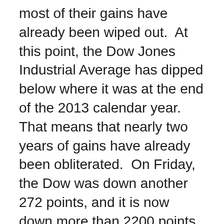most of their gains have already been wiped out.  At this point, the Dow Jones Industrial Average has dipped below where it was at the end of the 2013 calendar year.  That means that nearly two years of gains have already been obliterated.  On Friday, the Dow was down another 272 points, and it is now down more than 2200 points from the peak of the market back in May.  For months, I have been detailing how things were setting up for this kind of financial crash in textbook fashion, and now events are playing out just as I warned.  But this is just the beginning – what is coming next is going to shock the world.
We have already seen the 8th largest and 10th largest single day stock market crashes in all of U.S. history occur within the past few weeks…